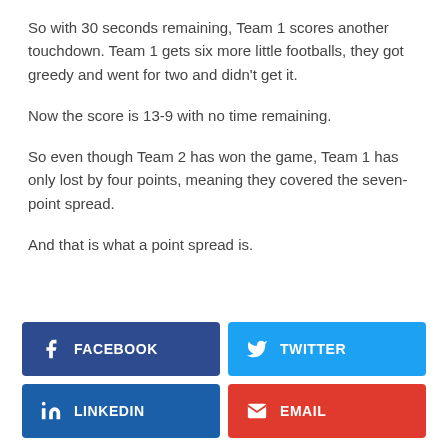So with 30 seconds remaining, Team 1 scores another touchdown. Team 1 gets six more little footballs, they got greedy and went for two and didn't get it.
Now the score is 13-9 with no time remaining.
So even though Team 2 has won the game, Team 1 has only lost by four points, meaning they covered the seven-point spread.
And that is what a point spread is.
[Figure (other): Social share buttons: Facebook (dark blue), Twitter (light blue), LinkedIn (dark blue), Email (red)]